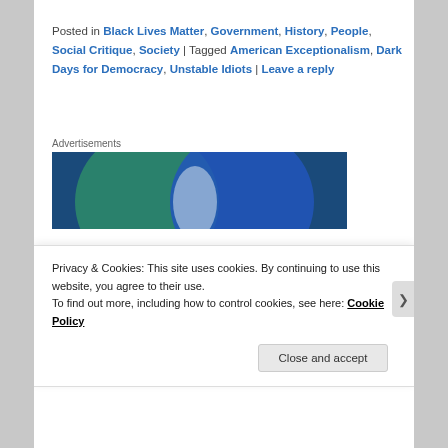Posted in Black Lives Matter, Government, History, People, Social Critique, Society | Tagged American Exceptionalism, Dark Days for Democracy, Unstable Idiots | Leave a reply
Advertisements
[Figure (illustration): Advertisement image showing two overlapping circles (Venn diagram style) — a green circle on the left and a blue circle on the right — with a light bluish-white overlap region in the center, on a dark blue background.]
Privacy & Cookies: This site uses cookies. By continuing to use this website, you agree to their use.
To find out more, including how to control cookies, see here: Cookie Policy
Close and accept